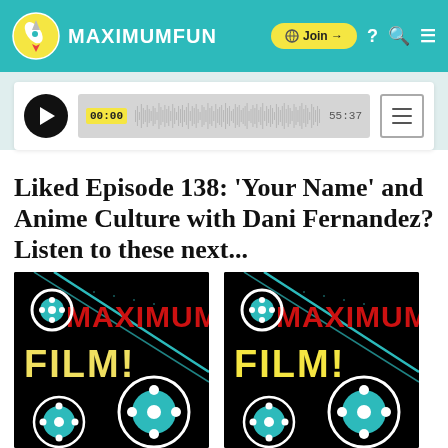[Figure (logo): MaximumFun website header with teal background, rocket logo, MAXIMUMFUN text, Join button, and nav icons]
[Figure (screenshot): Audio player with play button, waveform showing 00:00 start time, 55:37 total duration, and menu button]
Liked Episode 138: ‘Your Name’ and Anime Culture with Dani Fernandez? Listen to these next...
[Figure (illustration): Maximum Film! podcast artwork - black background with red MAXIMUM text, yellow FILM! text, and teal film reel graphics]
[Figure (illustration): Maximum Film! podcast artwork - black background with red MAXIMUM text, yellow FILM! text, and teal film reel graphics]